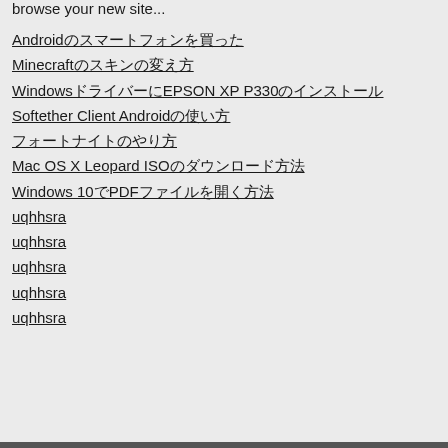browse your new site...
Androidのスマートフォンを買った
Minecraftのスキンの変え方
WindowsドライバーにEPSON XP P330のインストール
Softether Client Androidの使い方
フォートナイトのやり方
Mac OS X Leopard ISOのダウンロード方法
Windows 10でPDFファイルを開く方法
uqhhsra
uqhhsra
uqhhsra
uqhhsra
uqhhsra